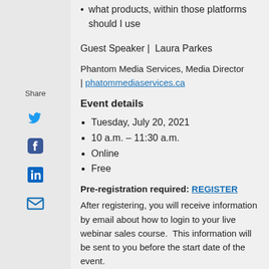what products, within those platforms should I use
Guest Speaker | Laura Parkes
Phantom Media Services, Media Director | phatommediaservices.ca
Event details
Tuesday, July 20, 2021
10 a.m. – 11:30 a.m.
Online
Free
Pre-registration required: REGISTER After registering, you will receive information by email about how to login to your live webinar sales course.  This information will be sent to you before the start date of the event.